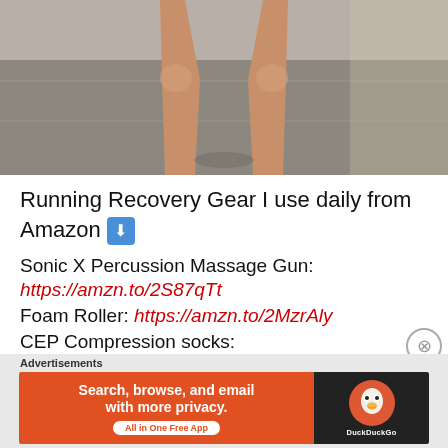[Figure (photo): Photo showing the lower legs and feet of a runner standing on pavement in sunlight]
Running Recovery Gear I use daily from Amazon ⬇️
Sonic X Percussion Massage Gun:
https://amzn.to/2S87qTt
Foam Roller: https://amzn.to/2MzrAly
CEP Compression socks:
https://amzn.to/30gZLGY
Advertisements
[Figure (screenshot): DuckDuckGo advertisement banner: 'Search, browse, and email with more privacy. All in One Free App' with DuckDuckGo logo on dark background]